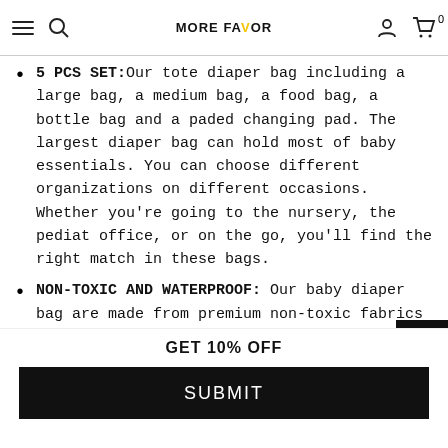MORE FAVOR
5 PCS SET:Our tote diaper bag including a large bag, a medium bag, a food bag, a bottle bag and a paded changing pad. The largest diaper bag can hold most of baby essentials. You can choose different organizations on different occasions. Whether you're going to the nursery, the pediatric office, or on the go, you'll find the right match in these bags.
NON-TOXIC AND WATERPROOF: Our baby diaper bag are made from premium non-toxic fabrics and
GET 10% OFF
SUBMIT